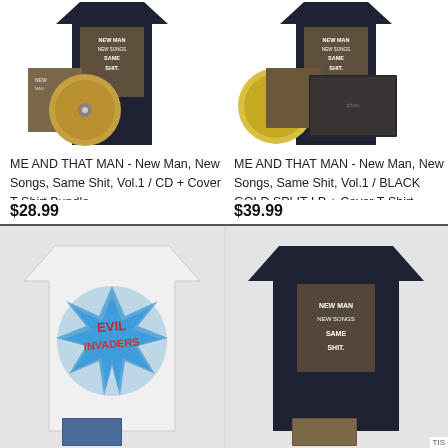[Figure (photo): Product photo of ME AND THAT MAN - New Man, New Songs, Same Shit, Vol.1 CD + Cover T-Shirt Bundle showing dark navy t-shirt and CD with album cover]
ME AND THAT MAN - New Man, New Songs, Same Shit, Vol.1 / CD + Cover T-Shirt Bundle
$28.99
[Figure (photo): Product photo of ME AND THAT MAN - New Man, New Songs, Same Shit, Vol.1 BLACK GOLD SPLIT LP + Cover T-Shirt Bundle showing dark navy t-shirt, gold vinyl record and album sleeve]
ME AND THAT MAN - New Man, New Songs, Same Shit, Vol.1 / BLACK GOLD SPLIT LP + Cover T-Shirt Bundle
$39.99
[Figure (photo): White t-shirt with Evil Invaders graphic design showing colorful spiky artwork]
[Figure (photo): Black t-shirt with New Man New Songs Same Shit cover graphic design]